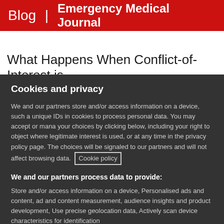Blog | Emergency Medical Journal
What Happens When Conflict-of-Interest is
Cookies and privacy
We and our partners store and/or access information on a device, such as unique IDs in cookies to process personal data. You may accept or manage your choices by clicking below, including your right to object where legitimate interest is used, or at any time in the privacy policy page. These choices will be signaled to our partners and will not affect browsing data. Cookie policy
We and our partners process data to provide:
Store and/or access information on a device, Personalised ads and content, ad and content measurement, audience insights and product development, Use precise geolocation data, Actively scan device characteristics for identification
List of Partners (vendors)